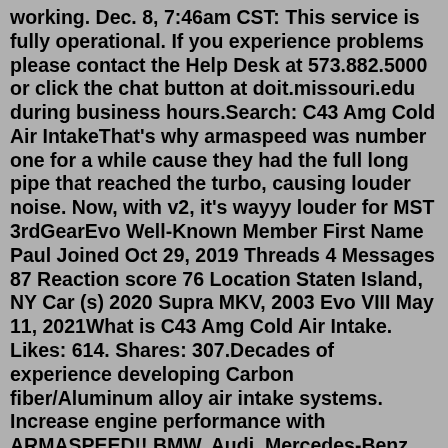working. Dec. 8, 7:46am CST: This service is fully operational. If you experience problems please contact the Help Desk at 573.882.5000 or click the chat button at doit.missouri.edu during business hours.Search: C43 Amg Cold Air IntakeThat's why armaspeed was number one for a while cause they had the full long pipe that reached the turbo, causing louder noise. Now, with v2, it's wayyy louder for MST 3rdGearEvo Well-Known Member First Name Paul Joined Oct 29, 2019 Threads 4 Messages 87 Reaction score 76 Location Staten Island, NY Car (s) 2020 Supra MKV, 2003 Evo VIII May 11, 2021What is C43 Amg Cold Air Intake. Likes: 614. Shares: 307.Decades of experience developing Carbon fiber/Aluminum alloy air intake systems. Increase engine performance with ARMASPEED!! BMW, Audi, Mercedes-Benz, Volkswagen, Subaru, Lexus, Honda, Ford, Mini, Toyora...May 21, 2021 · Military sexual trauma (MST) refers to sexual assault or sexual harassment experienced during military service. Veterans of all genders and from all types of